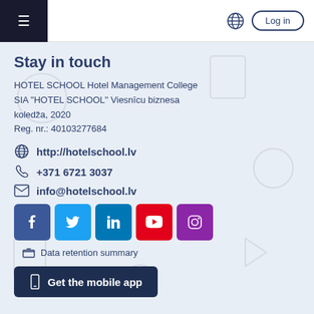≡  Log in
Stay in touch
HOTEL SCHOOL Hotel Management College
SIA "HOTEL SCHOOL" Viesnīcu biznesa koledža, 2020
Reg. nr.: 40103277684
http://hotelschool.lv
+371 6721 3037
info@hotelschool.lv
[Figure (infographic): Social media icons row: Facebook (blue), Twitter (light blue), LinkedIn (dark blue), YouTube (red), Instagram (purple)]
Data retention summary
Get the mobile app